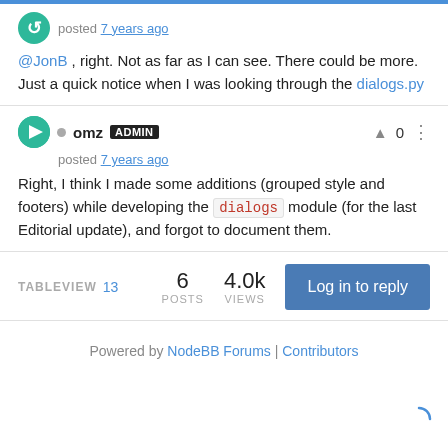posted 7 years ago
@JonB , right. Not as far as I can see. There could be more. Just a quick notice when I was looking through the dialogs.py
omz ADMIN posted 7 years ago
Right, I think I made some additions (grouped style and footers) while developing the dialogs module (for the last Editorial update), and forgot to document them.
TABLEVIEW 13   6 POSTS   4.0k VIEWS   Log in to reply
Powered by NodeBB Forums | Contributors